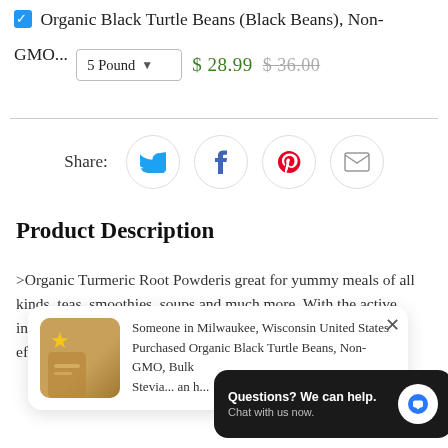✓ Organic Black Turtle Beans (Black Beans), Non-GMO...  5 Pound ▾  $ 28.99  $ 36.00
[Figure (infographic): Share row with Twitter, Facebook, Pinterest, and Email social sharing icons in circles]
Product Description
>Organic Turmeric Root Powder is great for yummy meals of all kinds, teas, smoothies, soups and much more. With the active ingredient Curcumin, it also has powerful anti-inflammatory effects and is a very strong antioxidant.
Someone in Milwaukee, Wisconsin United States Purchased Organic Black Turtle Beans, Non-GMO, Bulk Stevia... an h...
Questions? We can help. Chat with us now.